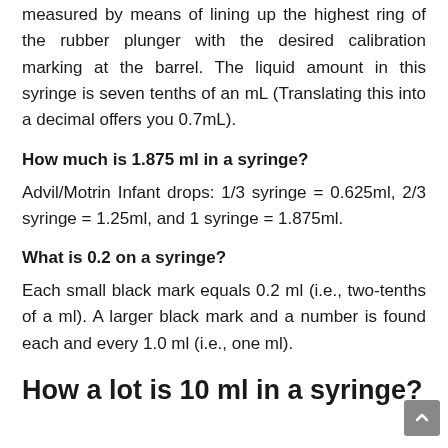measured by means of lining up the highest ring of the rubber plunger with the desired calibration marking at the barrel. The liquid amount in this syringe is seven tenths of an mL (Translating this into a decimal offers you 0.7mL).
How much is 1.875 ml in a syringe?
Advil/Motrin Infant drops: 1/3 syringe = 0.625ml, 2/3 syringe = 1.25ml, and 1 syringe = 1.875ml.
What is 0.2 on a syringe?
Each small black mark equals 0.2 ml (i.e., two-tenths of a ml). A larger black mark and a number is found each and every 1.0 ml (i.e., one ml).
How a lot is 10 ml in a syringe?